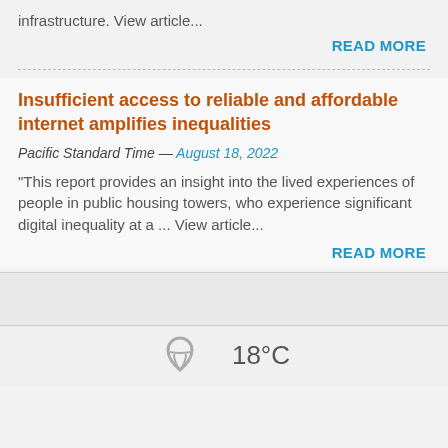infrastructure. View article...
READ MORE
Insufficient access to reliable and affordable internet amplifies inequalities
Pacific Standard Time — August 18, 2022
“This report provides an insight into the lived experiences of people in public housing towers, who experience significant digital inequality at a ... View article...
READ MORE
18°C